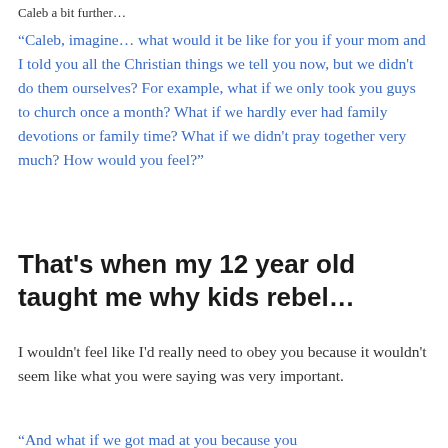Caleb a bit further…
“Caleb, imagine… what would it be like for you if your mom and I told you all the Christian things we tell you now, but we didn’t do them ourselves? For example, what if we only took you guys to church once a month? What if we hardly ever had family devotions or family time? What if we didn’t pray together very much? How would you feel?”
That’s when my 12 year old taught me why kids rebel…
I wouldn’t feel like I’d really need to obey you because it wouldn’t seem like what you were saying was very important.
“And what if we got mad at you because you